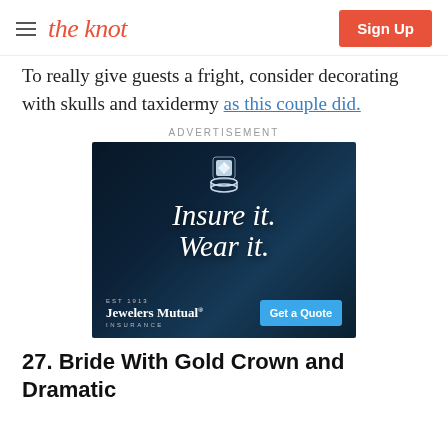the knot | Sign Up
To really give guests a fright, consider decorating with skulls and taxidermy as this couple did.
ADVERTISEMENT
[Figure (infographic): Jewelers Mutual Insurance advertisement on dark navy background featuring a diamond ring, script text reading 'Insure it. Wear it.', EST 1913 branding, and a 'Get a Quote' button.]
27. Bride With Gold Crown and Dramatic